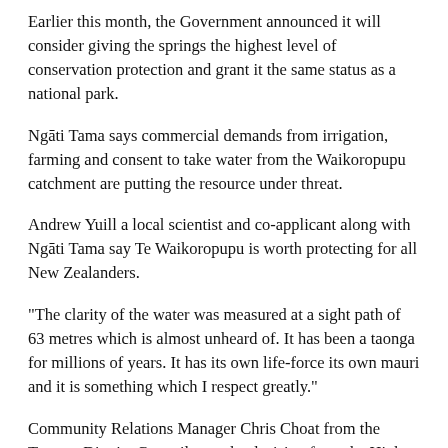Earlier this month, the Government announced it will consider giving the springs the highest level of conservation protection and grant it the same status as a national park.
Ngāti Tama says commercial demands from irrigation, farming and consent to take water from the Waikoropupu catchment are putting the resource under threat.
Andrew Yuill a local scientist and co-applicant along with Ngāti Tama say Te Waikoropupu is worth protecting for all New Zealanders.
“The clarity of the water was measured at a sight path of 63 metres which is almost unheard of. It has been a taonga for millions of years. It has its own life-force its own mauri and it is something which I respect greatly.”
Community Relations Manager Chris Choat from the Tasman District Council says the decision from the High Court means